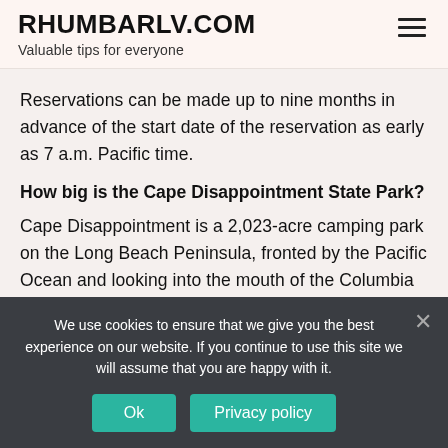RHUMBARLV.COM
Valuable tips for everyone
Reservations can be made up to nine months in advance of the start date of the reservation as early as 7 a.m. Pacific time.
How big is the Cape Disappointment State Park?
Cape Disappointment is a 2,023-acre camping park on the Long Beach Peninsula, fronted by the Pacific Ocean and looking into the mouth of the Columbia River. The park offers yurts, cabins and unique historic vacation homes to
We use cookies to ensure that we give you the best experience on our website. If you continue to use this site we will assume that you are happy with it.